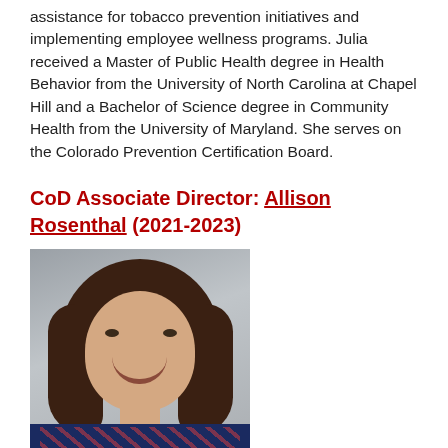assistance for tobacco prevention initiatives and implementing employee wellness programs. Julia received a Master of Public Health degree in Health Behavior from the University of North Carolina at Chapel Hill and a Bachelor of Science degree in Community Health from the University of Maryland. She serves on the Colorado Prevention Certification Board.
CoD Associate Director: Allison Rosenthal (2021-2023)
[Figure (photo): Portrait photo of Allison Rosenthal, a woman with curly brown shoulder-length hair, smiling, wearing a dark blue patterned top, against a grey background.]